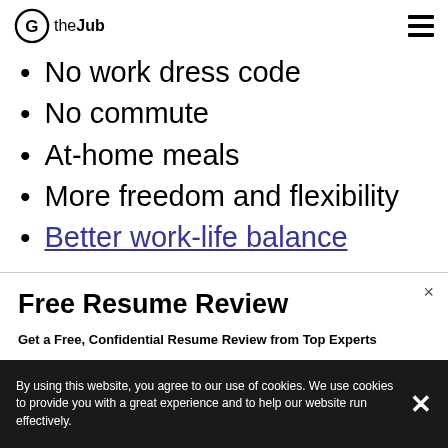(G) theJub [hamburger menu icon]
No work dress code
No commute
At-home meals
More freedom and flexibility
Better work-life balance
Free Resume Review
Get a Free, Confidential  Resume Review from Top Experts
If you decide to make any purchases, we may receive a commission at no cost to you. Thank you.
By using this website, you agree to our use of cookies. We use cookies to provide you with a great experience and to help our website run effectively.